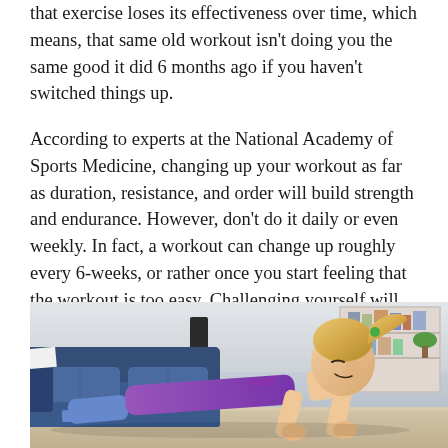that exercise loses its effectiveness over time, which means, that same old workout isn't doing you the same good it did 6 months ago if you haven't switched things up.
According to experts at the National Academy of Sports Medicine, changing up your workout as far as duration, resistance, and order will build strength and endurance. However, don't do it daily or even weekly. In fact, a workout can change up roughly every 6-weeks, or rather once you start feeling that the workout is too easy. Challenging yourself will ensure you keep seeing the results you want.
[Figure (photo): A blonde woman in a purple athletic top doing a plank exercise on the floor of a living room, with a blue couch and bookshelf visible in the background.]